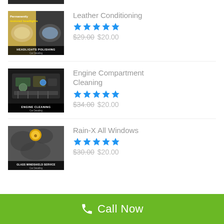[Figure (photo): Partial view of a car detailing product image at top (headlights polishing)]
Leather Conditioning
[Figure (photo): Permanently restored headlights - before and after photo with 'HEADLIGHTS POLISHING Car Detailing' label]
★★★★★
$29.00 $20.00
Engine Compartment Cleaning
[Figure (photo): Engine compartment photo with 'ENGINE CLEANING Car Detailing' label]
★★★★★
$34.00 $20.00
Rain-X All Windows
[Figure (photo): Car window/glass photo with 'GLASS WINDSHIELD SERVICE Car Detailing' label]
★★★★★
$30.00 $20.00
Call Now